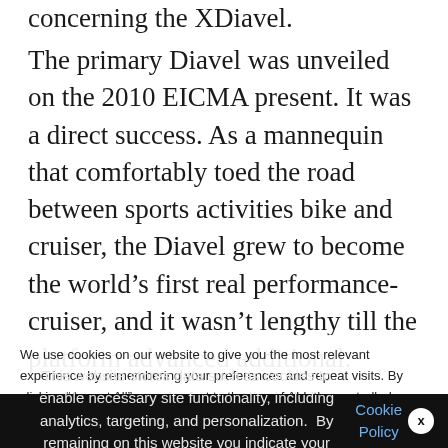concerning the XDiavel.
The primary Diavel was unveiled on the 2010 EICMA present. It was a direct success. As a mannequin that comfortably toed the road between sports activities bike and cruiser, the Diavel grew to become the world's first real performance-cruiser, and it wasn't lengthy till the platform advanced additional.
In 2016, the XDiavel was born. This was
We use cookies on our website to give you the most relevant experience by remembering your preferences and repeat visits. By clicking "Accept All", you consent to the use of ALL the controlled consent.
This website stores data such as cookies to enable necessary site functionality, including analytics, targeting, and personalization. By remaining on this website you indicate your consent Cookie Policy